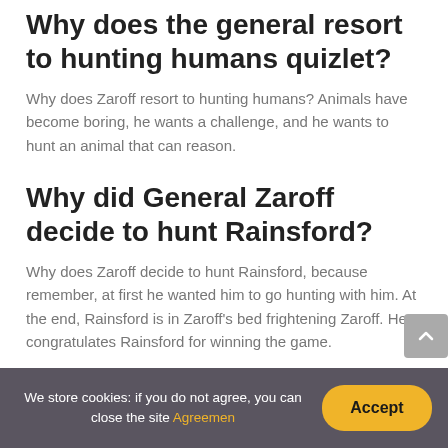Why does the general resort to hunting humans quizlet?
Why does Zaroff resort to hunting humans? Animals have become boring, he wants a challenge, and he wants to hunt an animal that can reason.
Why did General Zaroff decide to hunt Rainsford?
Why does Zaroff decide to hunt Rainsford, because remember, at first he wanted him to go hunting with him. At the end, Rainsford is in Zaroff's bed frightening Zaroff. He congratulates Rainsford for winning the game.
How does General Zaroff view humanity?
We store cookies: if you do not agree, you can close the site Agreemen